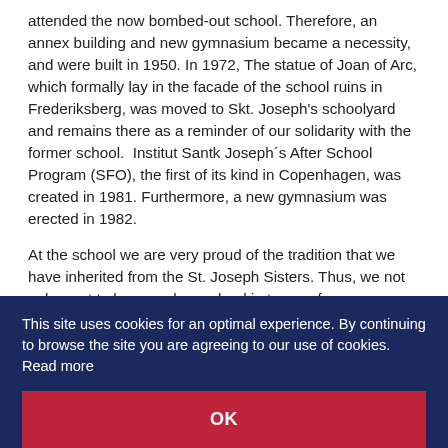attended the now bombed-out school. Therefore, an annex building and new gymnasium became a necessity, and were built in 1950. In 1972, The statue of Joan of Arc, which formally lay in the facade of the school ruins in Frederiksberg, was moved to Skt. Joseph's schoolyard and remains there as a reminder of our solidarity with the former school.  Institut Santk Joseph´s After School Program (SFO), the first of its kind in Copenhagen, was created in 1981. Furthermore, a new gymnasium was erected in 1982.
At the school we are very proud of the tradition that we have inherited from the St. Joseph Sisters. Thus, we not only want to be a modern school in terms of e.g.
This site uses cookies for an optimal experience. By continuing to browse the site you are agreeing to our use of cookies. Read more
OK